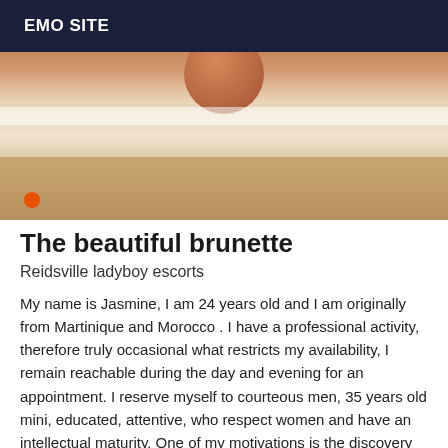EMO SITE
[Figure (photo): A partial photo showing a person and a beige/tan surface, cropped at top and bottom.]
The beautiful brunette
Reidsville ladyboy escorts
My name is Jasmine, I am 24 years old and I am originally from Martinique and Morocco . I have a professional activity, therefore truly occasional what restricts my availability, I remain reachable during the day and evening for an appointment. I reserve myself to courteous men, 35 years old mini, educated, attentive, who respect women and have an intellectual maturity. One of my motivations is the discovery of pleasant people with spirit and humor. So, gentlemen, come and